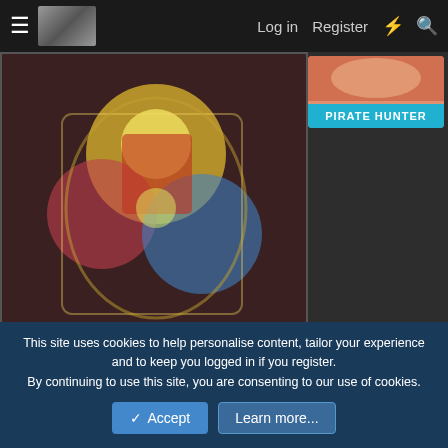≡  [image]  Log in  Register  ⚡  🔍
[Figure (illustration): Colorful anime/manga style illustration on left, and a Pirate Hunter banner on the right]
Jan 27, 2022
#15,096
Rosella.Flamingo said: ↑
Whats up?
sus
👍 Black_Leg_Wanji and mly90
This site uses cookies to help personalise content, tailor your experience and to keep you logged in if you register.
By continuing to use this site, you are consenting to our use of cookies.
✓ Accept  Learn more...